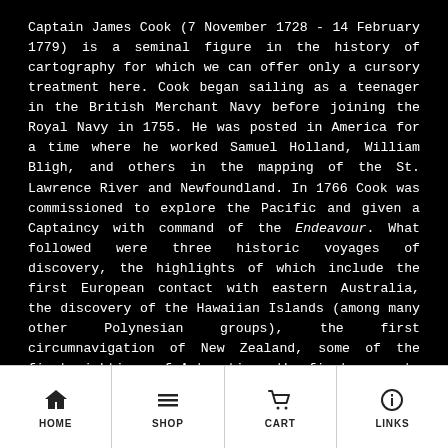Captain James Cook (7 November 1728 - 14 February 1779) is a seminal figure in the history of cartography for which we can offer only a cursory treatment here. Cook began sailing as a teenager in the British Merchant Navy before joining the Royal Navy in 1755. He was posted in America for a time where he worked Samuel Holland, William Bligh, and others in the mapping of the St. Lawrence River and Newfoundland. In 1766 Cook was commissioned to explore the Pacific and given a Captaincy with command of the Endeavour. What followed were three historic voyages of discovery, the highlights of which include the first European contact with eastern Australia, the discovery of the Hawaiian Islands (among many other Polynesian groups), the first circumnavigation of New Zealand, some of the first sightings of Antarctica, the first accurate mapping of the Pacific Northwest, and
HOME  SHOP  CART  LINKS